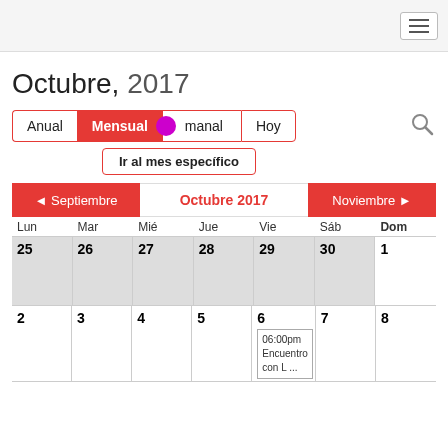☰
Octubre, 2017
Anual | Mensual | Semanal | Hoy
Ir al mes específico
◄ Septiembre   Octubre 2017   Noviembre ►
| Lun | Mar | Mié | Jue | Vie | Sáb | Dom |
| --- | --- | --- | --- | --- | --- | --- |
| 25 | 26 | 27 | 28 | 29 | 30 | 1 |
| 2 | 3 | 4 | 5 | 6
06:00pm Encuentro con L ... | 7 | 8 |